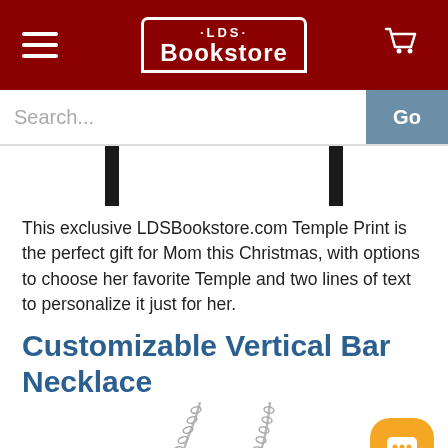LDS Bookstore
Search...
[Figure (photo): Partial view of a framed Temple print product (black frame, white interior) against a white background.]
This exclusive LDSBookstore.com Temple Print is the perfect gift for Mom this Christmas, with options to choose her favorite Temple and two lines of text to personalize it just for her.
Customizable Vertical Bar Necklace
[Figure (photo): Partial view of a silver customizable vertical bar necklace with a chat support button (orange rounded square with chat icon) in the bottom right corner.]